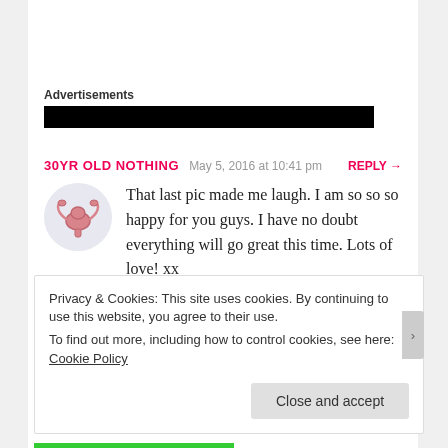Advertisements
[Figure (other): Black redacted advertisement block]
30YR OLD NOTHING   May 5, 2016 at 10:41 pm   REPLY →
[Figure (illustration): Circular avatar with uterus/reproductive system illustration in pink]
That last pic made me laugh. I am so so so happy for you guys. I have no doubt everything will go great this time. Lots of love! xx
★ Liked by 1 person
Privacy & Cookies: This site uses cookies. By continuing to use this website, you agree to their use. To find out more, including how to control cookies, see here: Cookie Policy Close and accept